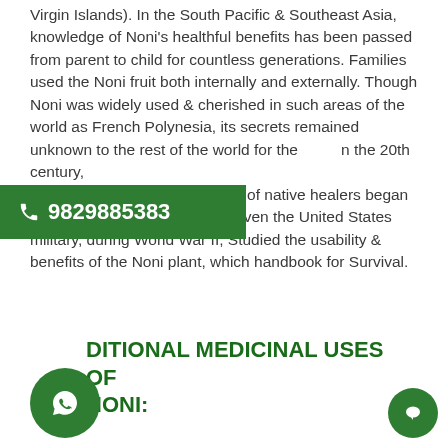Virgin Islands). In the South Pacific & Southeast Asia, knowledge of Noni's healthful benefits has been passed from parent to child for countless generations. Families used the Noni fruit both internally and externally. Though Noni was widely used & cherished in such areas of the world as French Polynesia, its secrets remained unknown to the rest of the world for the ... [in the 20th century, scientists interested in methods of native healers began to study this remarkable fruit. Even the United States military, during World War II, Studied the usability & benefits of the Noni plant, which handbook for Survival.
[Figure (infographic): Green banner with phone icon and number: 9829885383]
TRADITIONAL MEDICINAL USES OF NONI:
[Figure (infographic): WhatsApp green circle icon bottom left, chat circle icon bottom right]